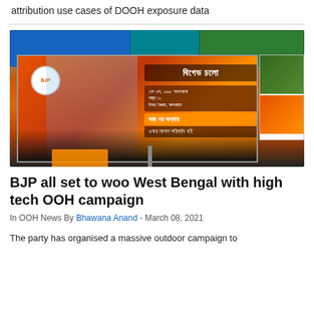attribution use cases of DOOH exposure data
[Figure (photo): A large outdoor billboard featuring Narendra Modi with Bengali text on an orange background, displayed on a street with shops in the background. Supporters or crowd silhouettes visible at the bottom of the billboard.]
BJP all set to woo West Bengal with high tech OOH campaign
In OOH News By Bhawana Anand - March 08, 2021
The party has organised a massive outdoor campaign to